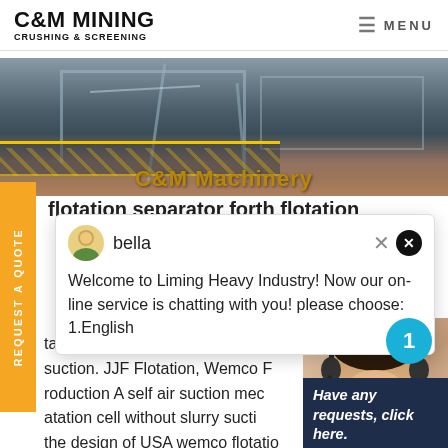C&M MINING CRUSHING & SCREENING | MENU
[Figure (photo): Mining/crushing equipment site photo with structural steel framework and machinery. Overlay text reads 'C&M Machinery']
flotation separator forth flotation
[Figure (screenshot): Chat popup with agent 'bella' avatar. Message: Welcome to Liming Heavy Industry! Now our on-line service is chatting with you! please choose: 1.English. Close buttons visible.]
tation equipment with self slurr suction. JJF Flotation, Wemco F roduction A self air suction mec atation cell without slurry sucti the design of USA wemco flotatio Price SF series Flotation machine, cells,Ore flotation . On the one ha
[Figure (photo): Customer service agent (female) with headset, smiling. Blue circular badge with number 1.]
Have any requests, click here.
Quotation